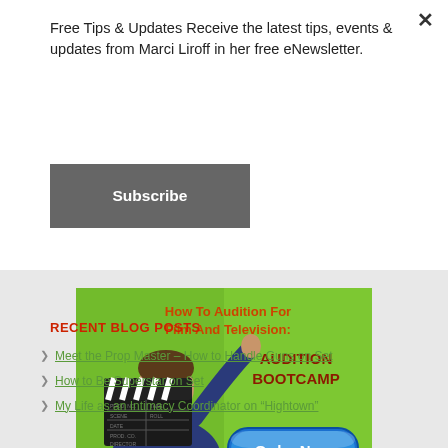Free Tips & Updates Receive the latest tips, events & updates from Marci Liroff in her free eNewsletter.
Subscribe
[Figure (illustration): Promotional banner for 'How To Audition For Film And Television: Audition Bootcamp' showing a man holding a clapperboard on a green background with an 'Order Now' button]
RECENT BLOG POSTS
Meet the Prop Master – How to Handle Guns on Set
How to Be Superstar on Set
My Life as an Intimacy Coordinator on "Hightown"